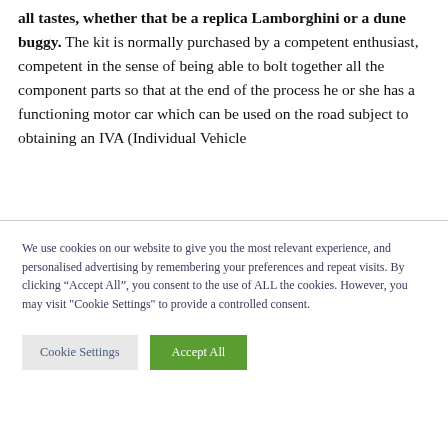all tastes, whether that be a replica Lamborghini or a dune buggy. The kit is normally purchased by a competent enthusiast, competent in the sense of being able to bolt together all the component parts so that at the end of the process he or she has a functioning motor car which can be used on the road subject to obtaining an IVA (Individual Vehicle
We use cookies on our website to give you the most relevant experience, and personalised advertising by remembering your preferences and repeat visits. By clicking “Accept All”, you consent to the use of ALL the cookies. However, you may visit "Cookie Settings" to provide a controlled consent.